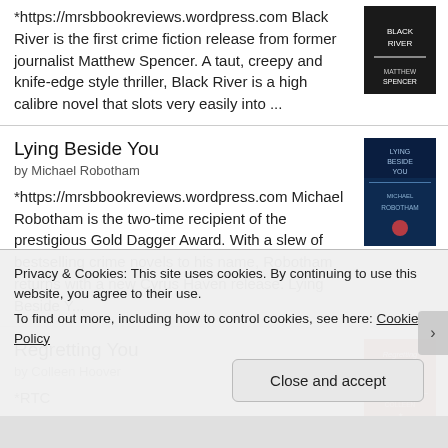*https://mrsbbookreviews.wordpress.com Black River is the first crime fiction release from former journalist Matthew Spencer. A taut, creepy and knife-edge style thriller, Black River is a high calibre novel that slots very easily into ...
Lying Beside You
by Michael Robotham
*https://mrsbbookreviews.wordpress.com Michael Robotham is the two-time recipient of the prestigious Gold Dagger Award. With a slew of bestselling crime novels to his name, Robotham returns with a new Cyrus Haven release. Lying Beside Y...
Regretting You
by Colleen Hoover
*RTC
Privacy & Cookies: This site uses cookies. By continuing to use this website, you agree to their use.
To find out more, including how to control cookies, see here: Cookie Policy
Close and accept